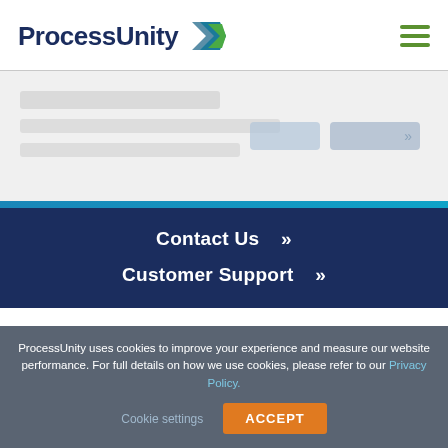ProcessUnity
[Figure (other): Blurred/redacted hero content area with grey placeholder rectangles and blurred button elements]
Contact Us »
Customer Support »
ProcessUnity uses cookies to improve your experience and measure our website performance. For full details on how we use cookies, please refer to our Privacy Policy.   Cookie settings   ACCEPT